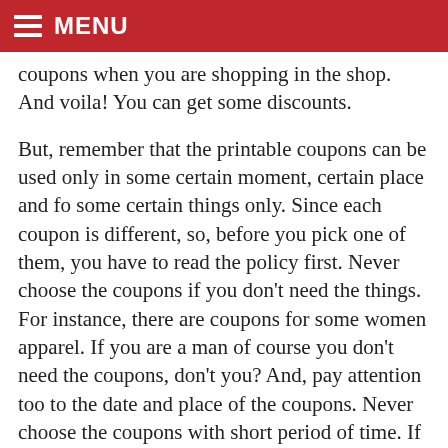MENU
coupons when you are shopping in the shop. And voila! You can get some discounts.
But, remember that the printable coupons can be used only in some certain moment, certain place and fo some certain things only. Since each coupon is different, so, before you pick one of them, you have to read the policy first. Never choose the coupons if you don’t need the things. For instance, there are coupons for some women apparel. If you are a man of course you don’t need the coupons, don’t you? And, pay attention too to the date and place of the coupons. Never choose the coupons with short period of time. If the coupons can be used only for 5 days after you print it, it means that you should use it immediately. Those are the way how to save money with printable coupons.
Similar Coupons and Coupon Codes You Might Find